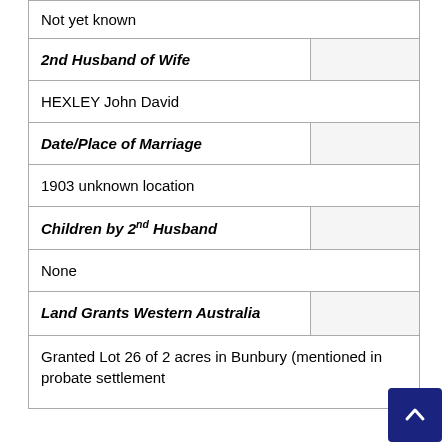| Not yet known |  |
| 2nd Husband of Wife |  |
| HEXLEY John David |  |
| Date/Place of Marriage |  |
| 1903 unknown location |  |
| Children by 2nd Husband |  |
| None |  |
| Land Grants Western Australia |  |
| Granted Lot 26 of 2 acres in Bunbury (mentioned in probate settlement |  |